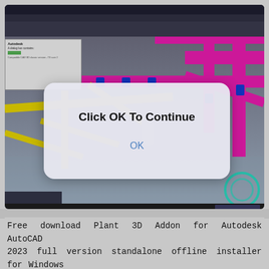[Figure (screenshot): AutoCAD Plant 3D application screenshot showing a 3D piping model with magenta and yellow pipes, with a modal dialog overlay reading 'Click OK To Continue' with an OK button. A small progress/status dialog is visible in the upper left of the viewport.]
Free download Plant 3D Addon for Autodesk AutoCAD 2023 full version standalone offline installer for Windows